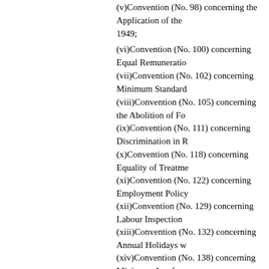(v)Convention (No. 98) concerning the Application of the Principles of the Right to Organise and to Bargain Collectively, 1949;
(vi)Convention (No. 100) concerning Equal Remuneration
(vii)Convention (No. 102) concerning Minimum Standards
(viii)Convention (No. 105) concerning the Abolition of Forced Labour
(ix)Convention (No. 111) concerning Discrimination in Respect
(x)Convention (No. 118) concerning Equality of Treatment
(xi)Convention (No. 122) concerning Employment Policy
(xii)Convention (No. 129) concerning Labour Inspection
(xiii)Convention (No. 132) concerning Annual Holidays w
(xiv)Convention (No. 138) concerning Minimum Age for
(xv)Convention (No. 182) concerning the Prohibition and Immediate Action for the Elimination of the Worst Forms of Child Labour, 1999;
(b)Convention of the United Nations Educational, Scientific and Cultural Organization on the Convention Against Discrimination in Education of 1960;